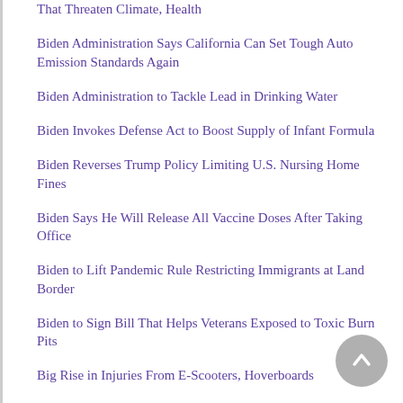That Threaten Climate, Health
Biden Administration Says California Can Set Tough Auto Emission Standards Again
Biden Administration to Tackle Lead in Drinking Water
Biden Invokes Defense Act to Boost Supply of Infant Formula
Biden Reverses Trump Policy Limiting U.S. Nursing Home Fines
Biden Says He Will Release All Vaccine Doses After Taking Office
Biden to Lift Pandemic Rule Restricting Immigrants at Land Border
Biden to Sign Bill That Helps Veterans Exposed to Toxic Burn Pits
Big Rise in Injuries From E-Scooters, Hoverboards
Biggest Reason Teens Injure Their Spines: Not Wearing Seat Belts
Birds Make a Comeback During Pandemic